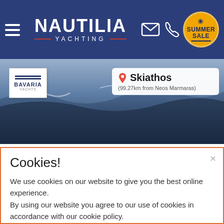[Figure (screenshot): Nautilia Yachting website header with hamburger menu, logo, email icon, phone icon, and Summer Sale badge]
[Figure (photo): Boat sailing on water with Bavaria Yachts logo overlay and Skiathos location badge showing 99.27km from Neos Marmaras]
Bareboat Monohull
Rent Bavaria 45 Cruiser (2012)
[Figure (infographic): Row of icons: arrows (length), people (capacity), document (cabins), toilet (WC), captain hat (skipper)]
Cookies!
We use cookies on our website to give you the best online experience.
By using our website you agree to our use of cookies in accordance with our cookie policy.
OK